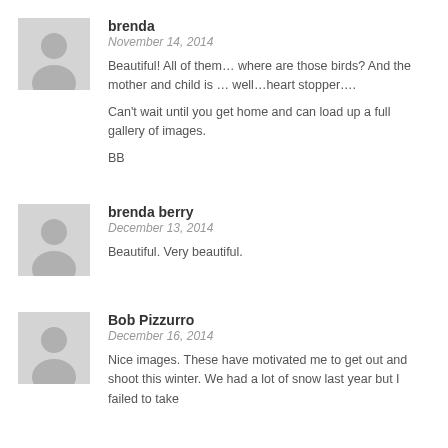[Figure (illustration): Gray avatar silhouette placeholder image for user brenda]
brenda
November 14, 2014
Beautiful! All of them… where are those birds? And the mother and child is … well…heart stopper….
Can't wait until you get home and can load up a full gallery of images.
BB
[Figure (illustration): Gray avatar silhouette placeholder image for user brenda berry]
brenda berry
December 13, 2014
Beautiful. Very beautiful.
[Figure (illustration): Gray avatar silhouette placeholder image for user Bob Pizzurro]
Bob Pizzurro
December 16, 2014
Nice images. These have motivated me to get out and shoot this winter. We had a lot of snow last year but I failed to take